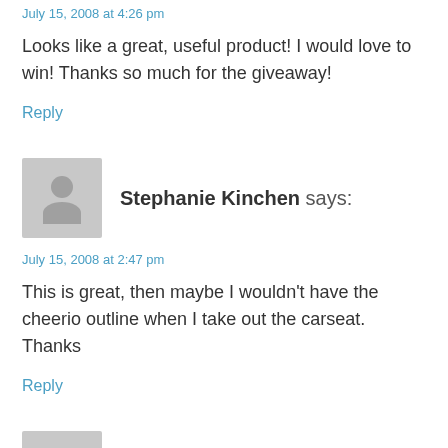July 15, 2008 at 4:26 pm
Looks like a great, useful product! I would love to win! Thanks so much for the giveaway!
Reply
[Figure (illustration): Gray avatar placeholder silhouette for Stephanie Kinchen]
Stephanie Kinchen says:
July 15, 2008 at 2:47 pm
This is great, then maybe I wouldn't have the cheerio outline when I take out the carseat. Thanks
Reply
[Figure (illustration): Gray avatar placeholder with circle for susan p]
susan p says: